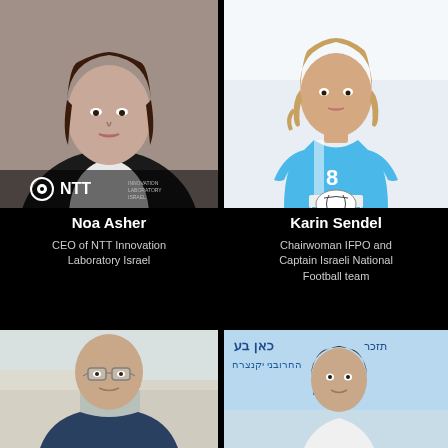[Figure (photo): Portrait of Noa Asher, woman in dark suit, with NTT Innovation Laboratory Israel logo overlay at bottom]
[Figure (photo): Portrait of Karin Sendel, woman in Israeli national football team jersey number 8, crouching with a ball]
Noa Asher
CEO of NTT Innovation Laboratory Israel
Karin Sendel
Chairwoman IFPO and Captain Israeli National Football team
[Figure (photo): Portrait of older bald man with glasses in a navy shirt, outdoor background]
[Figure (photo): Portrait of man in white shirt standing in front of IFPO banner with Hebrew text]